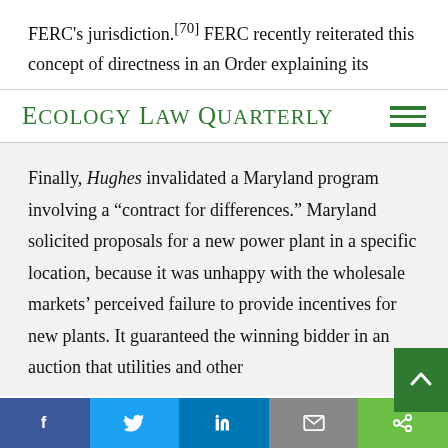FERC's jurisdiction.[70] FERC recently reiterated this concept of directness in an Order explaining its
ECOLOGY LAW QUARTERLY
Finally, Hughes invalidated a Maryland program involving a "contract for differences." Maryland solicited proposals for a new power plant in a specific location, because it was unhappy with the wholesale markets' perceived failure to provide incentives for new plants. It guaranteed the winning bidder in an auction that utilities and other
Facebook Twitter LinkedIn Email Share